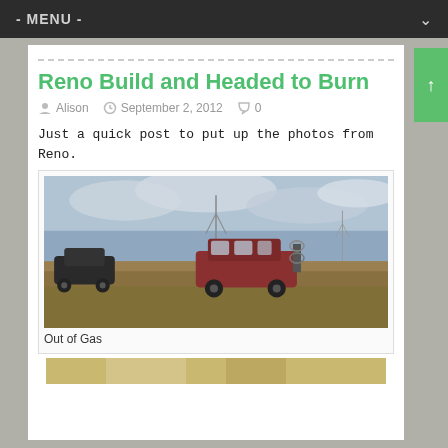- MENU -
Reno Build and Headed to Burn
Alison   September 2, 2012   0
Just a quick post to put up the photos from Reno.
[Figure (photo): A red minivan with a bike rack stopped in a flat, dry grassy field under a cloudy sky, with wind turbines visible in the background. A dark car is also visible to the left.]
Out of Gas
[Figure (photo): Partial view of another photo at the bottom of the page, showing what appears to be a vehicle interior or equipment.]